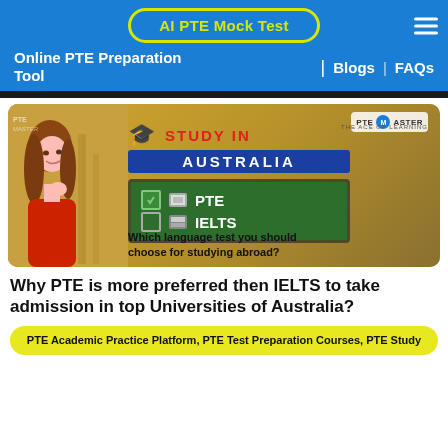AI PTE Mock Test | Online PTE Preparation Tool | Blogs | FAQs
[Figure (photo): Banner image: Study in Australia – PTE vs IELTS. Shows a woman thinking, a chalkboard with PTE checked and IELTS unchecked, text 'Which language test you should choose for studying abroad?', PTE Master logo.]
Why PTE is more preferred then IELTS to take admission in top Universities of Australia?
PTE Academic Practice Platform, PTE Test Preparation Courses, PTE Study